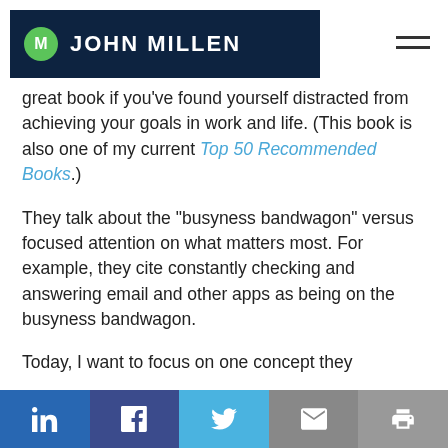JOHN MILLEN
great book if you've found yourself distracted from achieving your goals in work and life. (This book is also one of my current Top 50 Recommended Books.)
They talk about the “busyness bandwagon” versus focused attention on what matters most. For example, they cite constantly checking and answering email and other apps as being on the busyness bandwagon.
Today, I want to focus on one concept they
LinkedIn | Facebook | Twitter | Email | Print